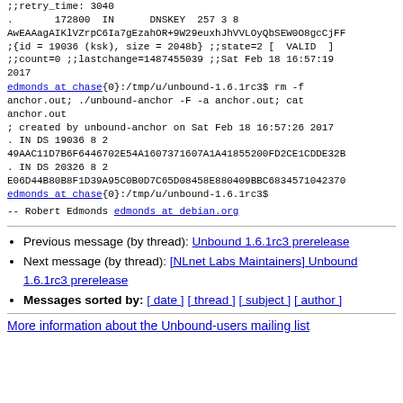;;retry_time: 3040
. 172800 IN DNSKEY 257 3 8
AwEAAagAIKlVZrpC6Ia7gEzahOR+9W29euxhJhVVLOyQbSEW0O8gcCjFF
;{id = 19036 (ksk), size = 2048b} ;;state=2 [ VALID ]
;;count=0 ;;lastchange=1487455039 ;;Sat Feb 18 16:57:19
2017
edmonds at chase{0}:/tmp/u/unbound-1.6.1rc3$ rm -f anchor.out; ./unbound-anchor -F -a anchor.out; cat anchor.out
; created by unbound-anchor on Sat Feb 18 16:57:26 2017
. IN DS 19036 8 2
49AAC11D7B6F6446702E54A1607371607A1A41855200FD2CE1CDDE32B
. IN DS 20326 8 2
E06D44B80B8F1D39A95C0B0D7C65D08458E880409BBC6834571042370
edmonds at chase{0}:/tmp/u/unbound-1.6.1rc3$
--
Robert Edmonds
edmonds at debian.org
Previous message (by thread): Unbound 1.6.1rc3 prerelease
Next message (by thread): [NLnet Labs Maintainers] Unbound 1.6.1rc3 prerelease
Messages sorted by: [ date ] [ thread ] [ subject ] [ author ]
More information about the Unbound-users mailing list